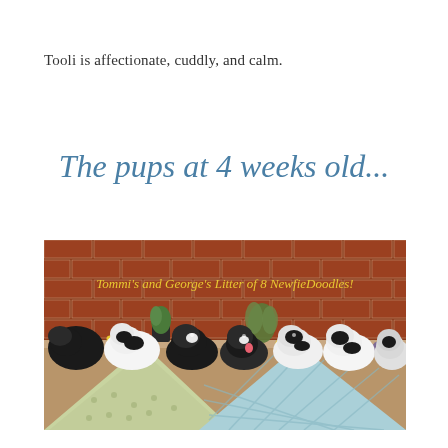Tooli is affectionate, cuddly, and calm.
The pups at 4 weeks old...
[Figure (photo): A row of black and white Newfiedoodle puppies lined up against a red brick wall, with colorful fabric bandanas in the foreground and small plants/flowers between them. Yellow script text overlay reads 'Tommi's and George's Litter of 8 NewfieDoodles!']